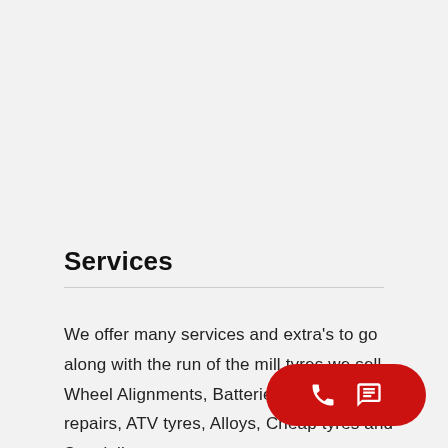Services
We offer many services and extra's to go along with the run of the mill tyres we sell – Wheel Alignments, Batteries, Puncture repairs, ATV tyres, Alloys, Cheap tyres and Specialist tyres.
[Figure (infographic): Red pill-shaped floating action button with a phone icon and a chat/message icon in white]